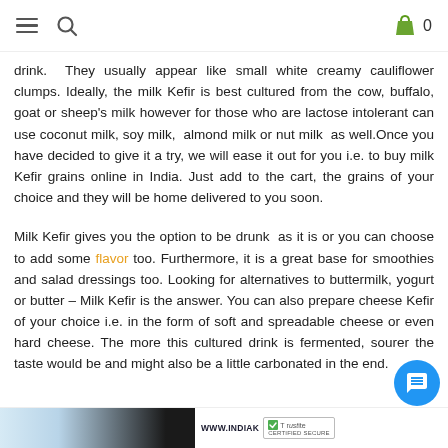≡ 🔍 [cart] 0
drink. They usually appear like small white creamy cauliflower clumps. Ideally, the milk Kefir is best cultured from the cow, buffalo, goat or sheep's milk however for those who are lactose intolerant can use coconut milk, soy milk, almond milk or nut milk as well.Once you have decided to give it a try, we will ease it out for you i.e. to buy milk Kefir grains online in India. Just add to the cart, the grains of your choice and they will be home delivered to you soon.
Milk Kefir gives you the option to be drunk as it is or you can choose to add some flavor too. Furthermore, it is a great base for smoothies and salad dressings too. Looking for alternatives to buttermilk, yogurt or butter – Milk Kefir is the answer. You can also prepare cheese Kefir of your choice i.e. in the form of soft and spreadable cheese or even hard cheese. The more this cultured drink is fermented, sourer the taste would be and might also be a little carbonated in the end.
[Figure (photo): Bottom strip with partial image on the left showing a person, and a trusted secure badge with WWW.INDIAK text and Trustpilot/certified secure logo on the right.]